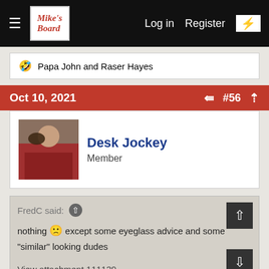Mike's Board — Log in   Register
🤣 Papa John and Raser Hayes
Oct 10, 2021   #56
Desk Jockey
Member
FredC said: ↑
nothing 🙁 except some eyeglass advice and some "similar" looking dudes
View attachment 111139
Damn, the world sure is full of ugly people. 😮